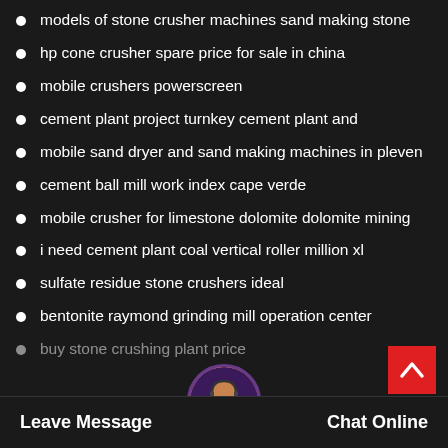models of stone crusher machines sand making stone
hp cone crusher spare price for sale in china
mobile crushers powerscreen
cement plant project turnkey cement plant and
mobile sand dryer and sand making machines in pleven
cement ball mill work index cape verde
mobile crusher for limestone dolomite dolomite mining
i need cement plant coal vertical roller million xl
sulfate residue stone crushers ideal
bentonite raymond grinding mill operation center
buy stone crushing plant price
Leave Message   Chat Online